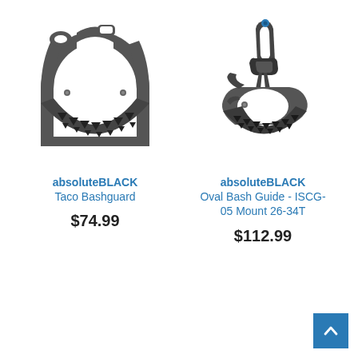[Figure (photo): Photo of absoluteBLACK Taco Bashguard - a dark grey/black crankset chain guard with triangular cutouts along the curved bottom edge and mounting tabs at top]
absoluteBLACK
Taco Bashguard
$74.99
[Figure (photo): Photo of absoluteBLACK Oval Bash Guide ISCG-05 Mount 26-34T - a dark grey/black chain guide with a tall upper arm, cutouts, and triangular teeth along the bottom curved bash guard]
absoluteBLACK
Oval Bash Guide - ISCG-05 Mount 26-34T
$112.99